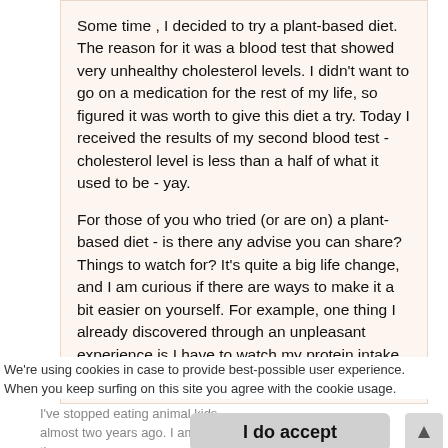Some time , I decided to try a plant-based diet. The reason for it was a blood test that showed very unhealthy cholesterol levels. I didn't want to go on a medication for the rest of my life, so figured it was worth to give this diet a try. Today I received the results of my second blood test - cholesterol level is less than a half of what it used to be - yay.

For those of you who tried (or are on) a plant-based diet - is there any advise you can share? Things to watch for? It's quite a big life change, and I am curious if there are ways to make it a bit easier on yourself. For example, one thing I already discovered through an unpleasant experience is I have to watch my protein intake, as it's too easy to not eat enough grams per day.
We're using cookies in case to provide best-possible user experience. When you keep surfing on this site you agree with the cookie usage.
I've stopped eating animal kids almost two years ago. I am faster tha
I do accept